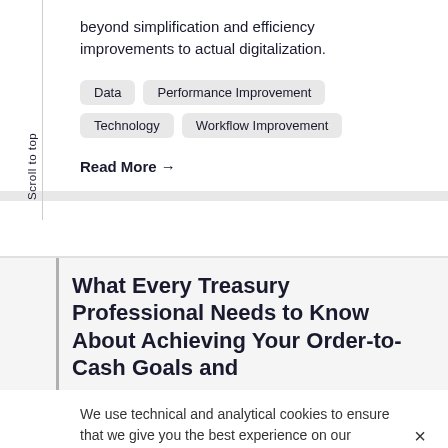beyond simplification and efficiency improvements to actual digitalization.
Data
Performance Improvement
Technology
Workflow Improvement
Read More →
Scroll to top
What Every Treasury Professional Needs to Know About Achieving Your Order-to-Cash Goals and
We use technical and analytical cookies to ensure that we give you the best experience on our website. Privacy and Cookie Policy.